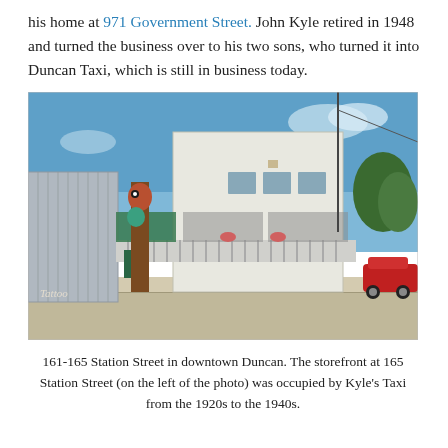his home at 971 Government Street. John Kyle retired in 1948 and turned the business over to his two sons, who turned it into Duncan Taxi, which is still in business today.
[Figure (photo): Street view photo of 161-165 Station Street in downtown Duncan, showing a white two-storey commercial building with a striped awning, a totem pole on the left, green-painted storefronts, hanging flower baskets, and a red car on the right. Blue sky in the background.]
161-165 Station Street in downtown Duncan. The storefront at 165 Station Street (on the left of the photo) was occupied by Kyle's Taxi from the 1920s to the 1940s.